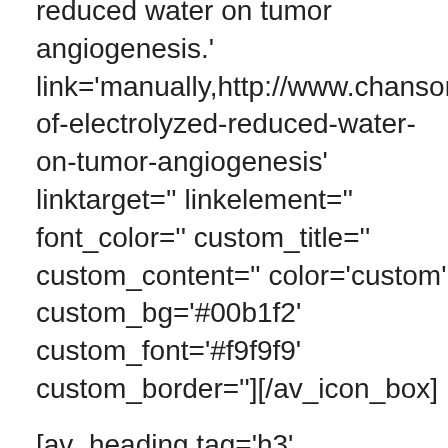reduced water on tumor angiogenesis.' link='manually,http://www.chansonalkalinewater.com/articles/effect-of-electrolyzed-reduced-water-on-tumor-angiogenesis' linktarget='' linkelement='' font_color='' custom_title='' custom_content='' color='custom' custom_bg='#00b1f2' custom_font='#f9f9f9' custom_border=''][/av_icon_box]
[av_heading tag='h3' padding='10' heading='Anti-Oxidant Effects of Ionized Alkaline Water Scientific Studies' color='' style='' custom_font='' size='' subheading_active='' subheading_size='15' custom_class=''][/av_heading]
[av_icon_box position='left' boxed='' icon='ue812' font='entypo-fontello' title='Electrolyzed – Reduced Water Scavenges Active Oxygen Species and Protects DNA from Oxidative Damage' link='manually,http://www.chansonalkalinewater.com/pdfs/ert...